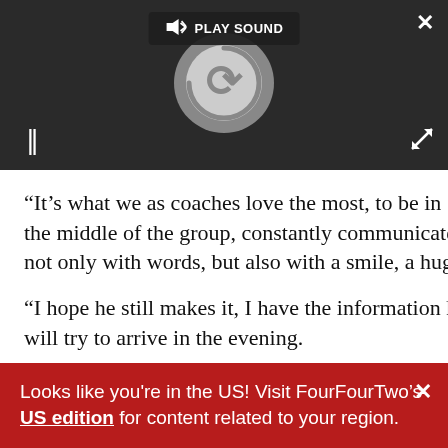[Figure (screenshot): Video/audio player with dark background, loading spinner circle, pause button, play sound label, close X and expand icon]
“It’s what we as coaches love the most, to be in the middle of the group, constantly communicate not only with words, but also with a smile, a hug.
“I hope he still makes it, I have the information he will try to arrive in the evening.
“He’s a big, big coach, big personality, it would be nice
Looks like you're in the US! Visit FourFourTwo's US edition for content related to your region.